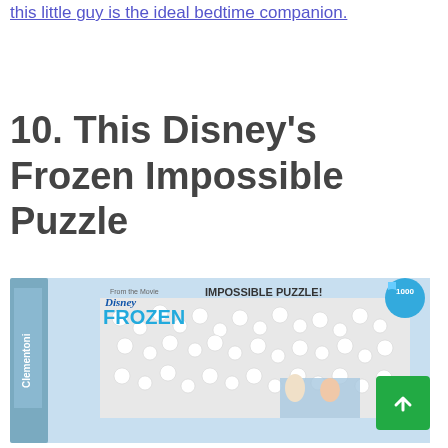this little guy is the ideal bedtime companion.
10. This Disney's Frozen Impossible Puzzle
[Figure (photo): Product photo of the Disney Frozen Impossible Puzzle box (1000 pieces) by Clementoni, featuring Olaf characters covering the puzzle image, with Elsa and Anna visible at the bottom]